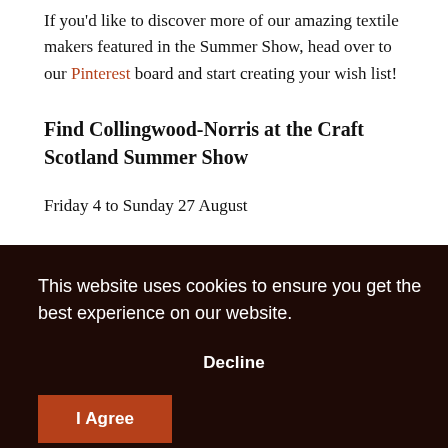If you'd like to discover more of our amazing textile makers featured in the Summer Show, head over to our Pinterest board and start creating your wish list!
Find Collingwood-Norris at the Craft Scotland Summer Show
Friday 4 to Sunday 27 August
Sun:
rgh,
[Figure (screenshot): Cookie consent overlay with dark brown background. Text reads: 'This website uses cookies to ensure you get the best experience on our website.' with a 'Decline' button and an 'I Agree' button in red/brown.]
Facebook to keep up to date!